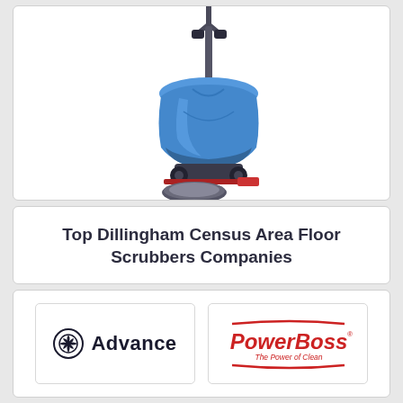[Figure (photo): Blue floor scrubber machine with handle and circular scrubbing pad at base]
Top Dillingham Census Area Floor Scrubbers Companies
[Figure (logo): Advance brand logo with circular gear-like icon and bold 'Advance' text]
[Figure (logo): PowerBoss brand logo with red italic text 'PowerBoss' and tagline 'The Power of Clean' with red swoosh lines]